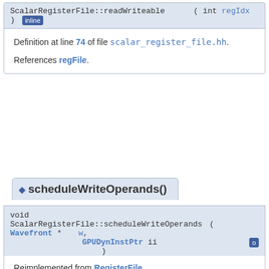ScalarRegisterFile::readWriteable ( int regIdx ) [inline]
Definition at line 74 of file scalar_register_file.hh.
References regFile.
◆ scheduleWriteOperands()
void ScalarRegisterFile::scheduleWriteOperands ( Wavefront * w, GPUDynInstPtr ii )
Reimplemented from RegisterFile.
Definition at line 84 of file scalar_register_file.cc.
References RegisterFile::computeUnit, ArmISA::i, ArmISA::j, RegisterManager::mapSgpr(), RegisterFile::markReg(),